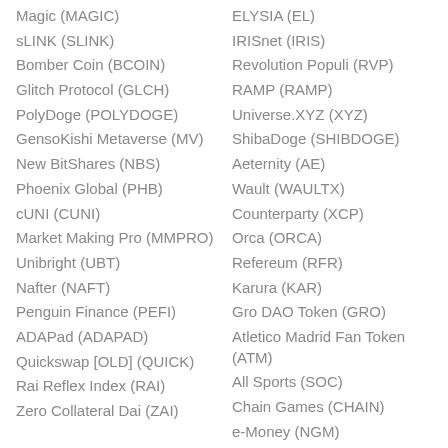Magic (MAGIC)
sLINK (SLINK)
Bomber Coin (BCOIN)
Glitch Protocol (GLCH)
PolyDoge (POLYDOGE)
GensoKishi Metaverse (MV)
New BitShares (NBS)
Phoenix Global (PHB)
cUNI (CUNI)
Market Making Pro (MMPRO)
Unibright (UBT)
Nafter (NAFT)
Penguin Finance (PEFI)
ADAPad (ADAPAD)
Quickswap [OLD] (QUICK)
Rai Reflex Index (RAI)
Zero Collateral Dai (ZAI)
ELYSIA (EL)
IRISnet (IRIS)
Revolution Populi (RVP)
RAMP (RAMP)
Universe.XYZ (XYZ)
ShibaDoge (SHIBDOGE)
Aeternity (AE)
Wault (WAULTX)
Counterparty (XCP)
Orca (ORCA)
Refereum (RFR)
Karura (KAR)
Gro DAO Token (GRO)
Atletico Madrid Fan Token (ATM)
All Sports (SOC)
Chain Games (CHAIN)
e-Money (NGM)
ARPA Chain (ARPA)